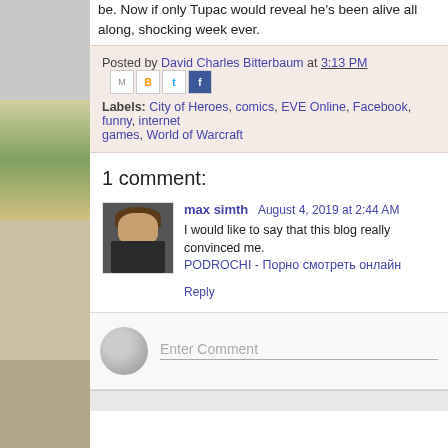be. Now if only Tupac would reveal he's been alive all along, shocking week ever.
Posted by David Charles Bitterbaum at 3:13 PM
Labels: City of Heroes, comics, EVE Online, Facebook, funny, internet games, World of Warcraft
1 comment:
max simth August 4, 2019 at 2:44 AM
I would like to say that this blog really convinced me. PODROCHI - Порно смотреть онлайн
Reply
Enter Comment